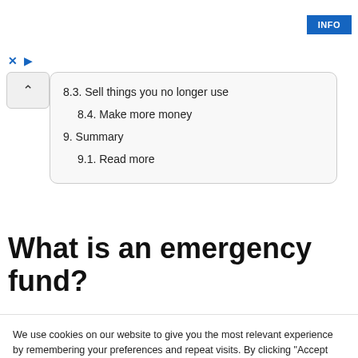[Figure (screenshot): INFO button in blue in top right corner of webpage]
[Figure (screenshot): Ad close (X) and play arrow icons in blue]
8.3. Sell things you no longer use
8.4. Make more money
9. Summary
9.1. Read more
What is an emergency fund?
We use cookies on our website to give you the most relevant experience by remembering your preferences and repeat visits. By clicking "Accept All", you consent to the use of ALL the cookies. However, you may visit "Cookie Settings" to provide a controlled consent.
Cookie Settings   Accept All